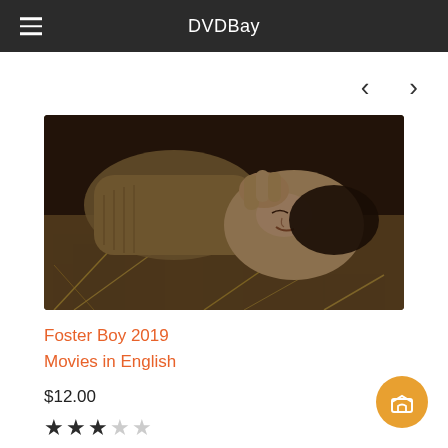DVDBay
[Figure (photo): A person lying sideways on hay/straw, seen from above. The person appears distressed, wearing a tan/khaki jacket, with hands near their face. Dark dramatic lighting.]
Foster Boy 2019
Movies in English
$12.00
[Figure (other): Star rating: 3 out of 5 stars (3 filled stars, 2 empty stars)]
[Figure (other): Orange circular mail/envelope button in the bottom right corner]